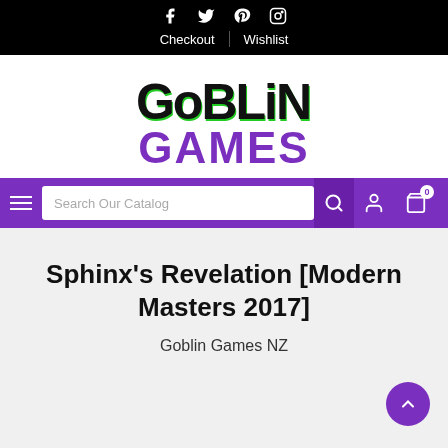Social icons: Facebook, Twitter, Pinterest, Instagram | Checkout | Wishlist
[Figure (logo): Goblin Games logo — 'GOBLIN' in large dark brush-stroke lettering with green accent, 'GAMES' in large purple bold text below]
[Figure (screenshot): Purple navigation bar with hamburger menu icon, Search Our Catalog input box, search icon, user icon, and cart icon with badge showing 0]
Sphinx's Revelation [Modern Masters 2017]
Goblin Games NZ